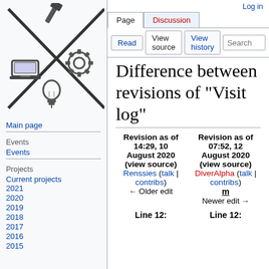[Figure (logo): Wikipedia/MediaWiki logo: tools (hammer), lightbulb, gear, and crossed lines forming an X pattern]
Log in
Main page
Events
Events
Current projects
2021
2020
2019
2018
2017
2016
2015
Difference between revisions of "Visit log"
| Revision as of 14:29, 10 August 2020 (view source) | Revision as of 07:52, 12 August 2020 (view source) |
| --- | --- |
| Renssies (talk | contribs)
← Older edit | DiverAlpha (talk | contribs)
m
Newer edit → |
Line 12: Line 12: